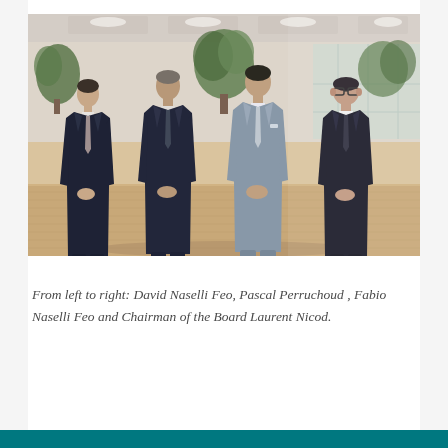[Figure (photo): Four men in business suits standing together in a modern open-plan office with wooden floors, indoor trees, and large windows. From left to right: David Naselli Feo (dark suit), Pascal Perruchoud (dark suit), Fabio Naselli Feo (light grey suit), and Laurent Nicod (dark suit with glasses).]
From left to right: David Naselli Feo, Pascal Perruchoud , Fabio Naselli Feo and Chairman of the Board Laurent Nicod.